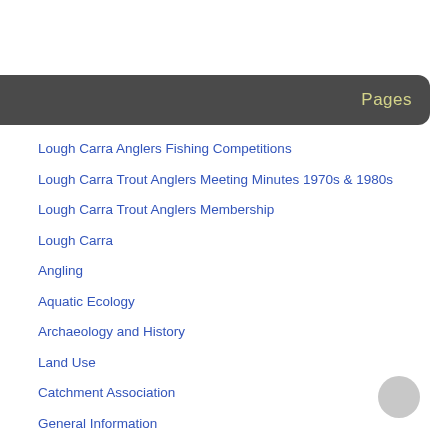Pages
Lough Carra Anglers Fishing Competitions
Lough Carra Trout Anglers Meeting Minutes 1970s & 1980s
Lough Carra Trout Anglers Membership
Lough Carra
Angling
Aquatic Ecology
Archaeology and History
Land Use
Catchment Association
General Information
Terrestrial Ecology